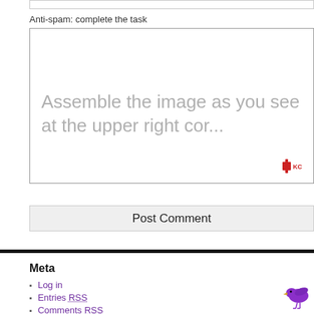Anti-spam: complete the task
[Figure (screenshot): Anti-spam CAPTCHA box with text: Assemble the image as you see at the upper right cor... and a red puzzle-piece logo in the bottom right corner]
Post Comment
Meta
Log in
Entries RSS
Comments RSS
WordPress.org